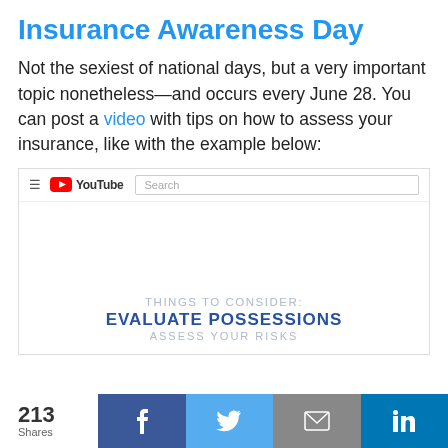Insurance Awareness Day
Not the sexiest of national days, but a very important topic nonetheless—and occurs every June 28. You can post a video with tips on how to assess your insurance, like with the example below:
[Figure (screenshot): Screenshot of a YouTube page showing a video about insurance titled 'Things to Consider: Evaluate Possessions / Assess Your Risks']
213 Shares